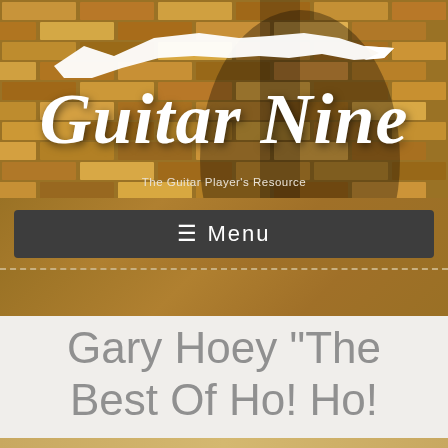[Figure (logo): Guitar Nine website header with brick wall background, guitar silhouette logo, and italic serif 'Guitar Nine' text in white with subtitle 'The Guitar Player's Resource']
≡ Menu
Gary Hoey "The Best Of Ho! Ho!